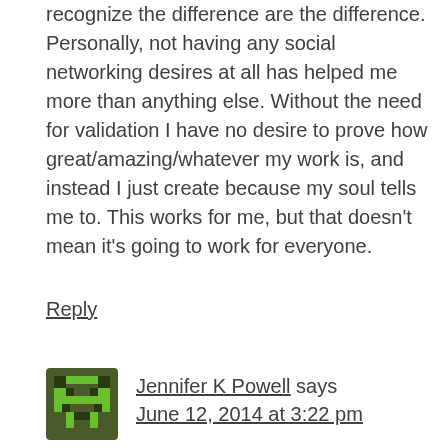recognize the difference are the difference. Personally, not having any social networking desires at all has helped me more than anything else. Without the need for validation I have no desire to prove how great/amazing/whatever my work is, and instead I just create because my soul tells me to. This works for me, but that doesn't mean it's going to work for everyone.
Reply
Jennifer K Powell says June 12, 2014 at 3:22 pm